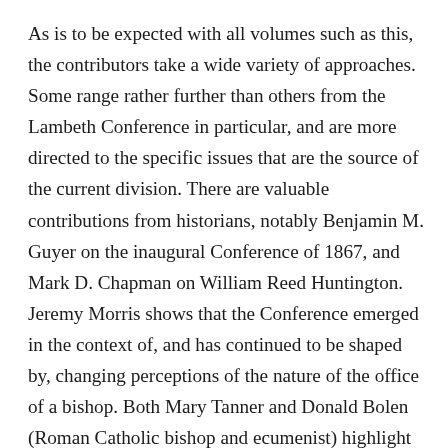As is to be expected with all volumes such as this, the contributors take a wide variety of approaches. Some range rather further than others from the Lambeth Conference in particular, and are more directed to the specific issues that are the source of the current division. There are valuable contributions from historians, notably Benjamin M. Guyer on the inaugural Conference of 1867, and Mark D. Chapman on William Reed Huntington. Jeremy Morris shows that the Conference emerged in the context of, and has continued to be shaped by, changing perceptions of the nature of the office of a bishop. Both Mary Tanner and Donald Bolen (Roman Catholic bishop and ecumenist) highlight the ecumenical significance of the Conference. Others concentrate on process: Charlotte Methuen examines the making of the 1920 ‘Appeal to All Christian People’; Andrew Goddard looks at successive